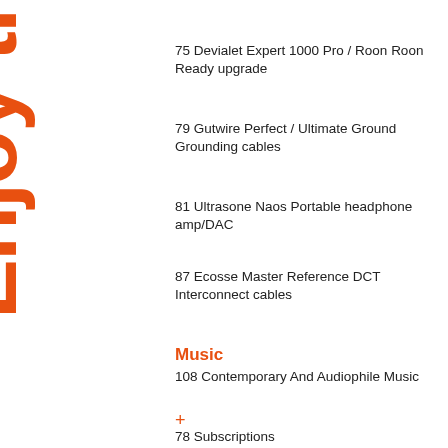[Figure (illustration): Large orange bold text reading 'Enjoy the' rotated 90 degrees counterclockwise along the left side of the page]
75 Devialet Expert 1000 Pro / Roon Roon Ready upgrade
79 Gutwire Perfect / Ultimate Ground Grounding cables
81 Ultrasone Naos Portable headphone amp/DAC
87 Ecosse Master Reference DCT Interconnect cables
Music
108 Contemporary And Audiophile Music
+
78 Subscriptions